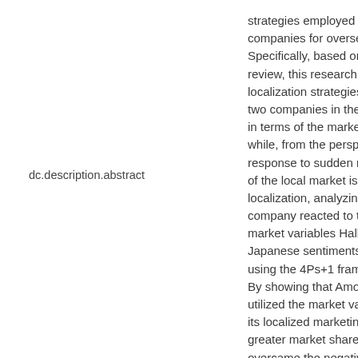dc.description.abstract
strategies employed by m companies for overseas m Specifically, based on lite review, this research com localization strategies app two companies in the Ch in terms of the marketing while, from the perspecti response to sudden mark of the local market is a pa localization, analyzing ho company reacted to the u market variables Hallyu a Japanese sentiments, resp using the 4Ps+1 framewo By showing that Amorep utilized the market variab its localized marketing to greater market share and overcame the negative m anti-Japanese sentiments localized marketing of its exclusive brand, this pape guidelines on how Korea in the Chinese market inc Amorepacific can respond Hallyu sentiments d